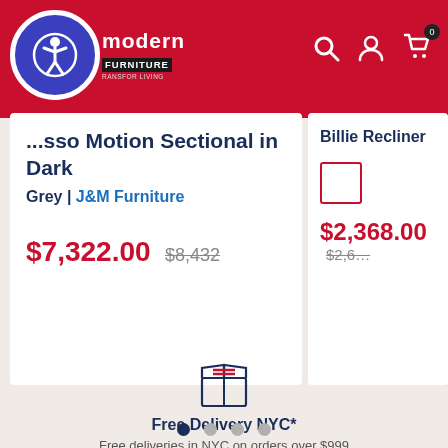Modern Furniture — website header with accessibility button, logo, search, account, and cart icons
...sso Motion Sectional in Dark Grey | J&M Furniture
$7,322.00  $8,432
Billie Recliner
$2,368.00  $2,6...
[Figure (illustration): Package/delivery box icon with red stripe lines, drawn in dark blue outline style]
Free Delivery NYC*
Free deliveries in NYC on orders over $999